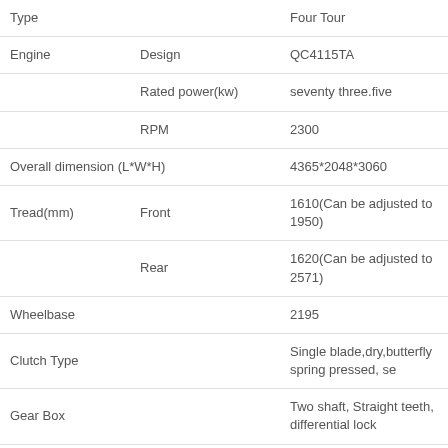| Category | Sub-category | Value |
| --- | --- | --- |
| Type |  | Four Tour |
| Engine | Design | QC4115TA |
|  | Rated power(kw) | seventy three.five |
|  | RPM | 2300 |
| Overall dimension (L*W*H) |  | 4365*2048*3060 |
| Tread(mm) | Front | 1610(Can be adjusted to 1950) |
|  | Rear | 1620(Can be adjusted to 2571) |
| Wheelbase |  | 2195 |
| Clutch Type |  | Single blade,dry,butterfly spring pressed, se |
| Gear Box |  | Two shaft, Straight teeth, differential lock |
| Gear shift |  | 16F+8R |
| Weight (kg) |  | 3400 |
| Tyre | Entrance | 8.3-24 |